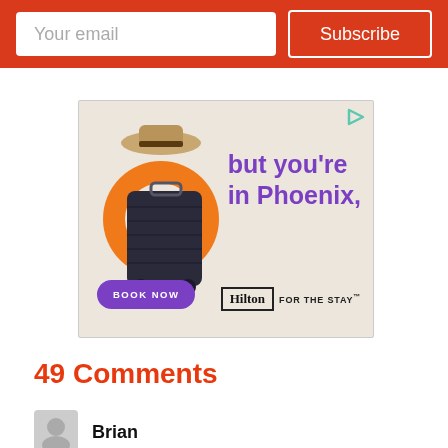Your email
Subscribe
[Figure (illustration): Hilton hotel advertisement showing an orange inflatable ring around a dark rolling suitcase with a sun hat on top, text reading 'but you're in Phoenix,' with a purple 'BOOK NOW' button and Hilton 'FOR THE STAY' logo]
49 Comments
Brian